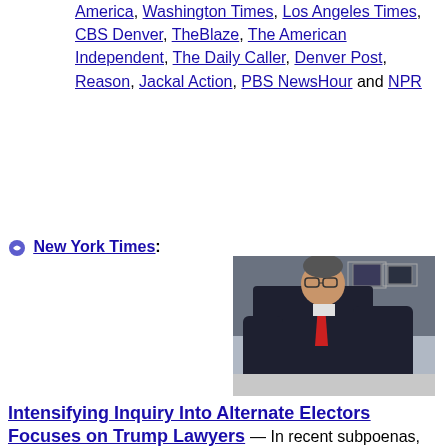America, Washington Times, Los Angeles Times, CBS Denver, TheBlaze, The American Independent, The Daily Caller, Denver Post, Reason, Jackal Action, PBS NewsHour and NPR
New York Times:
[Figure (photo): Photo of a man in a dark suit and red tie leaning over something, wearing glasses, with framed pictures on wall in background]
Intensifying Inquiry Into Alternate Electors Focuses on Trump Lawyers
In recent subpoenas, federal prosecutors investigating alternate slates of pro-Trump electors sought information about Rudolph W. Giuliani, John Eastman and others.  —  The Justice Department has stepped ...
Discussion:  CNN, Raw Story, Insider and Talking Points Memo
Drew